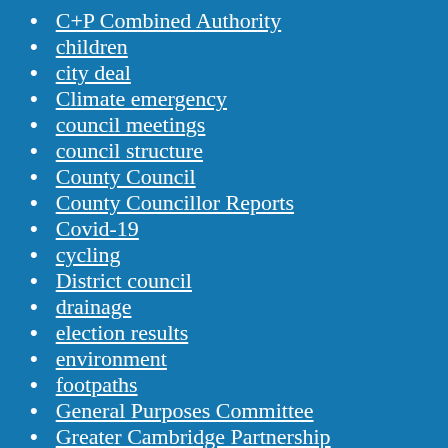C+P Combined Authority
children
city deal
Climate emergency
council meetings
council structure
County Council
County Councillor Reports
Covid-19
cycling
District council
drainage
election results
environment
footpaths
General Purposes Committee
Greater Cambridge Partnership